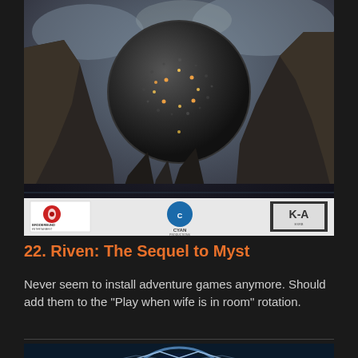[Figure (photo): Game cover art for Riven: The Sequel to Myst, showing a large dark spherical rock structure with glowing lights in a canyon landscape with water, featuring logos for Broderbund, Cyan Productions, and ESRB K-A rating]
22. Riven: The Sequel to Myst
Never seem to install adventure games anymore. Should add them to the "Play when wife is in room" rotation.
[Figure (photo): Partial view of another game cover art, showing a blue circular logo or badge, partially cropped at the bottom of the page]